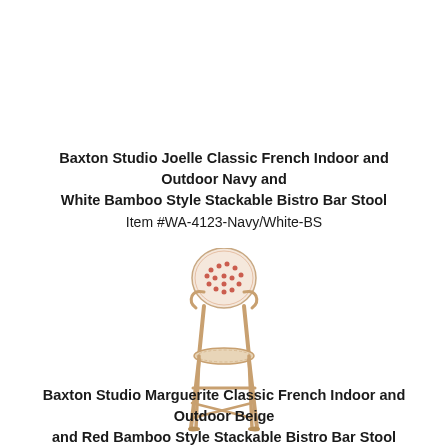Baxton Studio Joelle Classic French Indoor and Outdoor Navy and White Bamboo Style Stackable Bistro Bar Stool
Item #WA-4123-Navy/White-BS
[Figure (photo): A tall bistro bar stool with bamboo-style legs and a round woven backrest with a red/white pattern. The seat and back feature a dotted woven textile in red and white. The frame is natural tan/bamboo colored.]
Baxton Studio Marguerite Classic French Indoor and Outdoor Beige and Red Bamboo Style Stackable Bistro Bar Stool